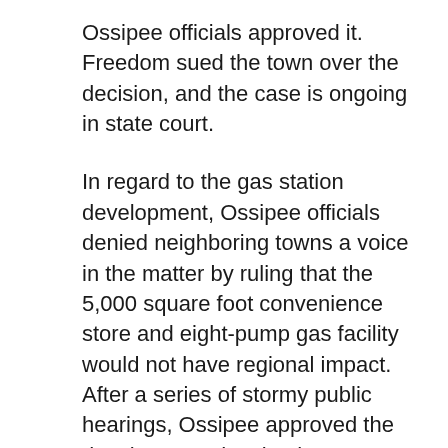Ossipee officials approved it. Freedom sued the town over the decision, and the case is ongoing in state court.
In regard to the gas station development, Ossipee officials denied neighboring towns a voice in the matter by ruling that the 5,000 square foot convenience store and eight-pump gas facility would not have regional impact. After a series of stormy public hearings, Ossipee approved the development despite the town's prohibition against gas stations in the Water Protection District, and testimony by a noted geologist who called the plan “reckless.” The appeal period in the matter expires on July 7.